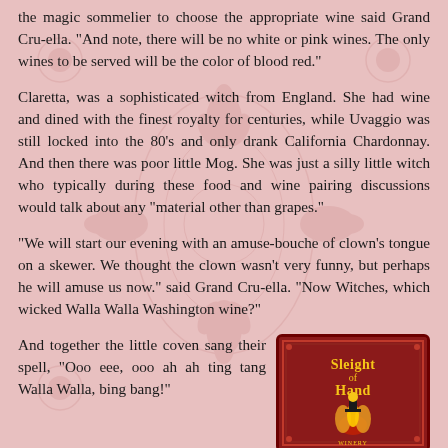the magic sommelier to choose the appropriate wine said Grand Cru-ella. "And note, there will be no white or pink wines. The only wines to be served will be the color of blood red."
Claretta, was a sophisticated witch from England. She had wine and dined with the finest royalty for centuries, while Uvaggio was still locked into the 80's and only drank California Chardonnay. And then there was poor little Mog. She was just a silly little witch who typically during these food and wine pairing discussions would talk about any "material other than grapes."
"We will start our evening with an amuse-bouche of clown's tongue on a skewer. We thought the clown wasn't very funny, but perhaps he will amuse us now." said Grand Cru-ella. "Now Witches, which wicked Walla Walla Washington wine?"
And together the little coven sang their spell, "Ooo eee, ooo ah ah ting tang Walla Walla, bing bang!"
[Figure (illustration): Wine label for 'Sleight of Hand' winery with dark red background, decorative border, stylized magician figure, and ornate lettering]